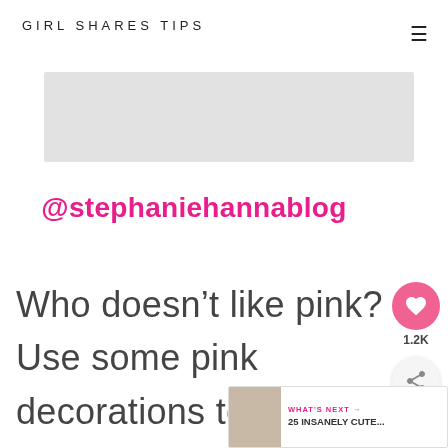GIRL SHARES TIPS
[Figure (other): Gray placeholder rectangle (image banner)]
@stephaniehannablog
Who doesn't like pink? Use some pink decorations to create your dream co...
[Figure (other): Social share sidebar with heart button showing 1.2K and share icon]
[Figure (other): What's Next banner showing a small photo and text '25 INSANELY CUTE...']